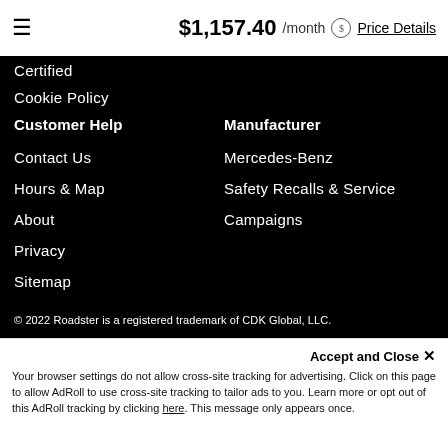☰   $1,157.40 /month  $ Price Details
Certified
Cookie Policy
Customer Help
Manufacturer
Contact Us
Mercedes-Benz
Hours & Map
Safety Recalls & Service
About
Campaigns
Privacy
Sitemap
© 2022 Roadster is a registered trademark of CDK Global, LLC.
Accept and Close ✕
Your browser settings do not allow cross-site tracking for advertising. Click on this page to allow AdRoll to use cross-site tracking to tailor ads to you. Learn more or opt out of this AdRoll tracking by clicking here. This message only appears once.